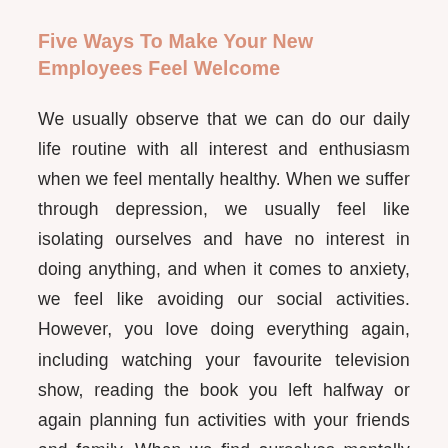Five Ways To Make Your New Employees Feel Welcome
We usually observe that we can do our daily life routine with all interest and enthusiasm when we feel mentally healthy. When we suffer through depression, we usually feel like isolating ourselves and have no interest in doing anything, and when it comes to anxiety, we feel like avoiding our social activities. However, you love doing everything again, including watching your favourite television show, reading the book you left halfway or again planning fun activities with your friends and family. When we find ourselves mentally healthy, we find happiness in everything that